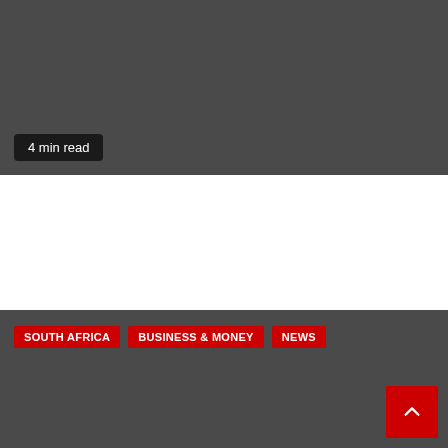[Figure (photo): Dark gray background image section representing an article thumbnail]
4 min read
Disruption In The Workplace: Gaining Employee Buy-In For In-Office Time
3 hours ago
SOUTH AFRICA
BUSINESS & MONEY
NEWS